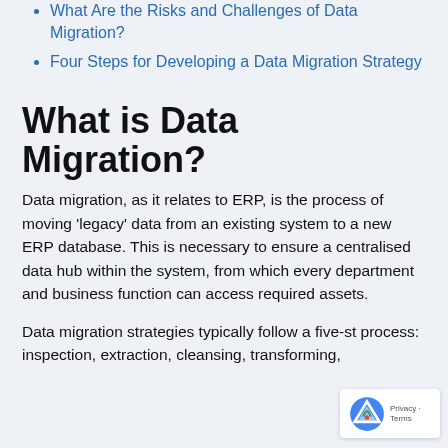What Are the Risks and Challenges of Data Migration?
Four Steps for Developing a Data Migration Strategy
What is Data Migration?
Data migration, as it relates to ERP, is the process of moving ‘legacy’ data from an existing system to a new ERP database. This is necessary to ensure a centralised data hub within the system, from which every department and business function can access required assets.
Data migration strategies typically follow a five-st process: inspection, extraction, cleansing, transforming,